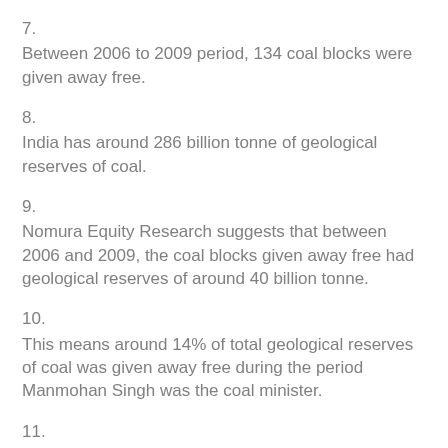7.
Between 2006 to 2009 period, 134 coal blocks were given away free.
8.
India has around 286 billion tonne of geological reserves of coal.
9.
Nomura Equity Research suggests that between 2006 and 2009, the coal blocks given away free had geological reserves of around 40 billion tonne.
10.
This means around 14% of total geological reserves of coal was given away free during the period Manmohan Singh was the coal minister.
11.
What was the reason Government gave away Free Coal to Private companies when government says, tries to cancel